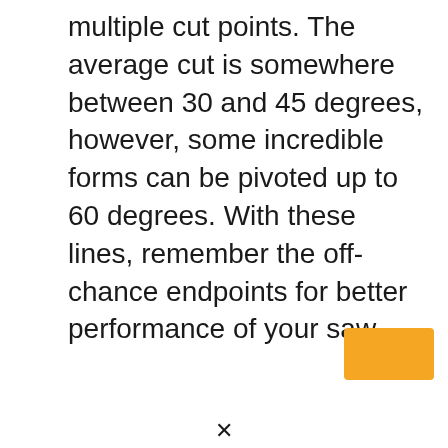multiple cut points. The average cut is somewhere between 30 and 45 degrees, however, some incredible forms can be pivoted up to 60 degrees. With these lines, remember the off-chance endpoints for better performance of your saw.
[Figure (other): Small orange/amber rounded rectangle in the lower-right corner, partially cut off]